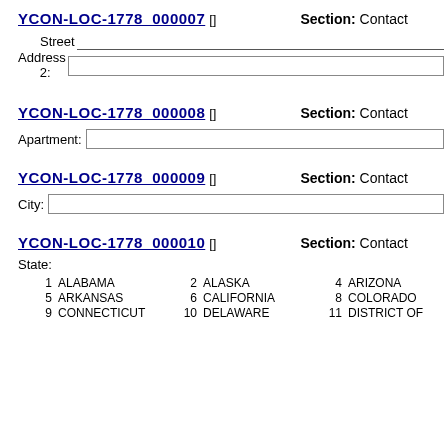YCON-LOC-1778  000007 []   Section: Contact
Street Address 2:
YCON-LOC-1778  000008 []   Section: Contact
Apartment:
YCON-LOC-1778  000009 []   Section: Contact
City:
YCON-LOC-1778  000010 []   Section: Contact
State:
| Num | State | Num | State | Num | State |
| --- | --- | --- | --- | --- | --- |
| 1 | ALABAMA | 2 | ALASKA | 4 | ARIZONA |
| 5 | ARKANSAS | 6 | CALIFORNIA | 8 | COLORADO |
| 9 | CONNECTICUT | 10 | DELAWARE | 11 | DISTRICT OF |